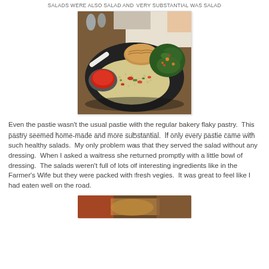salads were also salad and very substantial was salad
[Figure (photo): A black plate with a pastie, couscous/grain salad with red peppers and vegetables, a small bowl of red dipping sauce, and a dark leafy green salad. A rolled napkin and menu visible in background.]
Even the pastie wasn't the usual pastie with the regular bakery flaky pastry.  This pastry seemed home-made and more substantial.  If only every pastie came with such healthy salads.  My only problem was that they served the salad without any dressing.  When I asked a waitress she returned promptly with a little bowl of dressing.  The salads weren't full of lots of interesting ingredients like in the Farmer's Wife but they were packed with fresh vegies.  It was great to feel like I had eaten well on the road.
[Figure (photo): Partial view of another food photo, showing what appears to be a meal on a plate, cropped at bottom of page.]